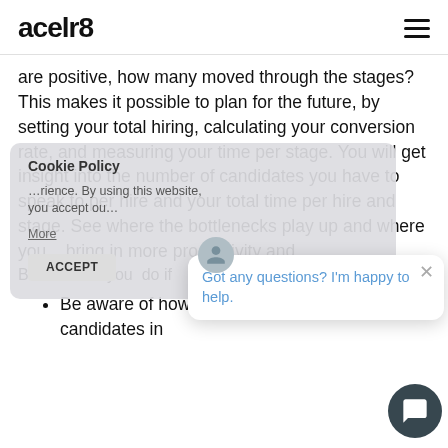acelr8
are positive, how many moved through the stages? This makes it possible to plan for the future, by setting your total hiring, calculating your conversion rate, and measuring your time per stage. You will get insight into the number of candidates you have to speak to per hire and your total time per hire and stage. See where the bottlenecks play up and where you can bring in more productivity and
But what do you do if
Be aware of how much time you spend getting candidates in